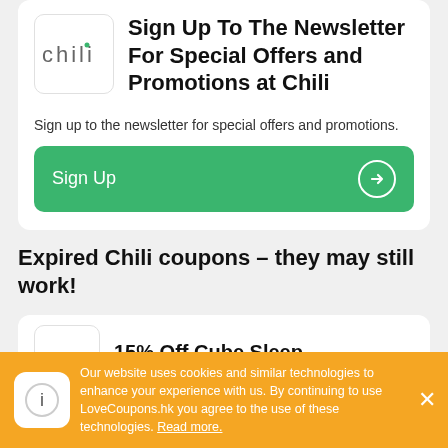[Figure (logo): Chili brand logo in a white rounded box]
Sign Up To The Newsletter For Special Offers and Promotions at Chili
Sign up to the newsletter for special offers and promotions.
Sign Up →
Expired Chili coupons – they may still work!
15% Off Cube Sleep
Our website uses cookies and similar technologies to enhance your experience with us. By continuing to use LoveCoupons.hk you agree to the use of these technologies. Read more.